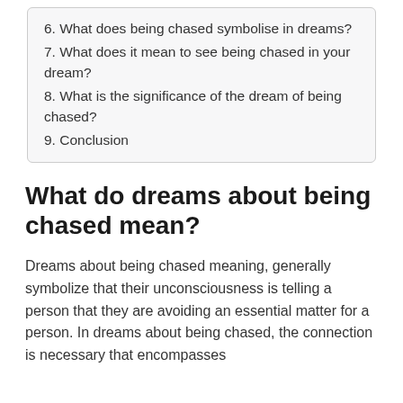6. What does being chased symbolise in dreams?
7. What does it mean to see being chased in your dream?
8. What is the significance of the dream of being chased?
9. Conclusion
What do dreams about being chased mean?
Dreams about being chased meaning, generally symbolize that their unconsciousness is telling a person that they are avoiding an essential matter for a person. In dreams about being chased, the connection is necessary that encompasses